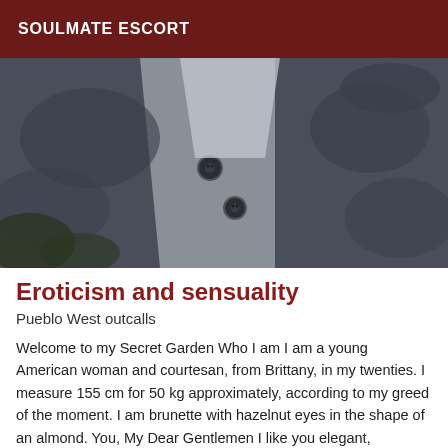SOULMATE ESCORT
[Figure (photo): Close-up photo of clothing buttons on a dark grey fabric garment, partially unbuttoned revealing layers underneath]
Eroticism and sensuality
Pueblo West outcalls
Welcome to my Secret Garden Who I am I am a young American woman and courtesan, from Brittany, in my twenties. I measure 155 cm for 50 kg approximately, according to my greed of the moment. I am brunette with hazelnut eyes in the shape of an almond. You, My Dear Gentlemen I like you elegant, courteous, respectful and